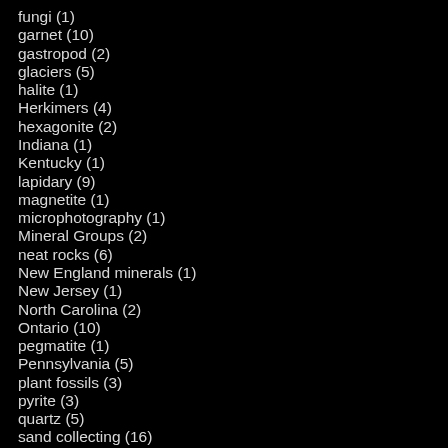fungi (1)
garnet (10)
gastropod (2)
glaciers (5)
halite (1)
Herkimers (4)
hexagonite (2)
Indiana (1)
Kentucky (1)
lapidary (9)
magnetite (1)
microphotography (1)
Mineral Groups (2)
neat rocks (6)
New England minerals (1)
New Jersey (1)
North Carolina (2)
Ontario (10)
pegmatite (1)
Pennsylvania (5)
plant fossils (3)
pyrite (3)
quartz (5)
sand collecting (16)
Silurian in New York (2)